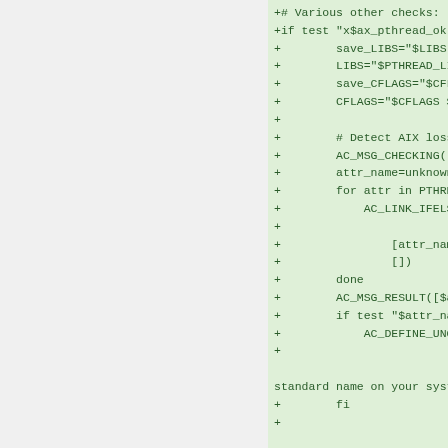+# Various other checks:
+if test "x$ax_pthread_ok"
+        save_LIBS="$LIBS"
+        LIBS="$PTHREAD_LI
+        save_CFLAGS="$CFL
+        CFLAGS="$CFLAGS $
+
+        # Detect AIX loss
+        AC_MSG_CHECKING([
+        attr_name=unknown
+        for attr in PTHRE
+            AC_LINK_IFELS
+
+                [attr_nam
+                [])
+        done
+        AC_MSG_RESULT([$a
+        if test "$attr_na
+            AC_DEFINE_UNQ
+
+
standard name on your syst
+        fi
+
+        AC_MSG_CHECKING([